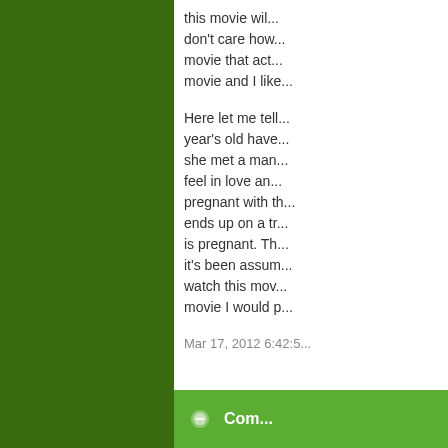this movie wil... don't care how... movie that act... movie and I like...
Here let me tell... year's old have... she met a man... feel in love an... pregnant with th... ends up on a tr... is pregnant. Th... it's been assum... watch this mov... movie I would p...
Mar 17, 2012 6:42:5...